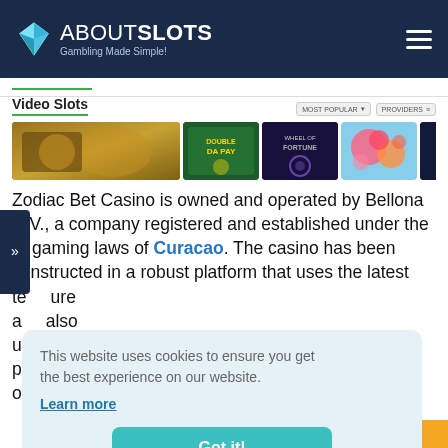ABOUTSLOTS Gambling Made Simple!
Video Slots
[Figure (screenshot): Row of video slot game thumbnails including green game, dark fantasy game, candy themed game, and dark game with chat badge]
Zodiac Bet Casino is owned and operated by Bellona N.V., a company registered and established under the gaming laws of Curacao. The casino has been constructed in a robust platform that uses the latest te... ure a... also u... p... n any o...
This website uses cookies to ensure you get the best experience on our website.
Learn more
Got it!